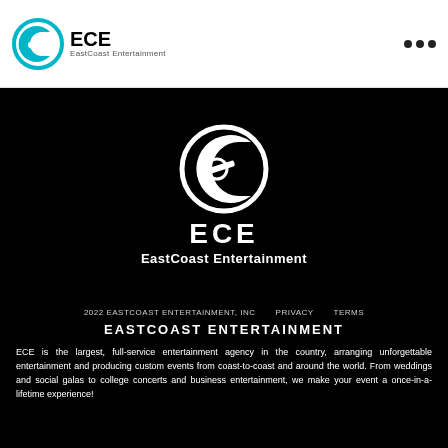[Figure (logo): ECE EastCoast Entertainment logo in header — circular C-shaped icon in teal/black with ECE text]
[Figure (logo): Large ECE EastCoast Entertainment logo — white C-shaped circular mark on black background with ECE and EastCoast Entertainment text in white]
2022 EASTCOAST ENTERTAINMENT, INC   PRIVACY   TERMS
EASTCOAST ENTERTAINMENT
ECE is the largest, full-service entertainment agency in the country, arranging unforgettable entertainment and producing custom events from coast-to-coast and around the world. From weddings and social galas to college concerts and business entertainment, we make your event a once-in-a-lifetime experience!